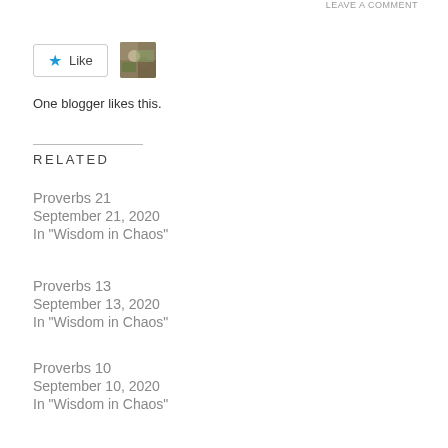LEAVE A COMMENT
[Figure (other): Like button with star icon and a small avatar photo thumbnail]
One blogger likes this.
RELATED
Proverbs 21
September 21, 2020
In "Wisdom in Chaos"
Proverbs 13
September 13, 2020
In "Wisdom in Chaos"
Proverbs 10
September 10, 2020
In "Wisdom in Chaos"